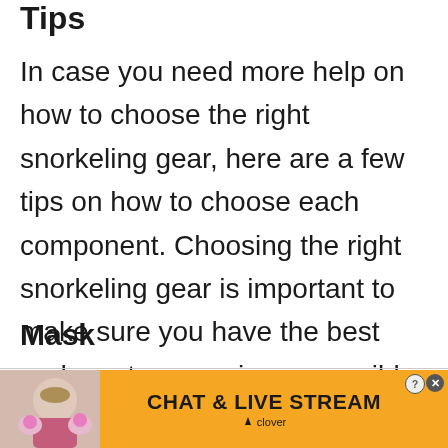Tips
In case you need more help on how to choose the right snorkeling gear, here are a few tips on how to choose each component. Choosing the right snorkeling gear is important to make sure you have the best underwater experience possible.
Mask
[Figure (photo): Partial image of a snorkeling mask (blue) visible at the bottom of the page content area]
[Figure (photo): Advertisement banner with orange background showing a woman on a beach and text CHAT & LIVE STREAM with clover branding]